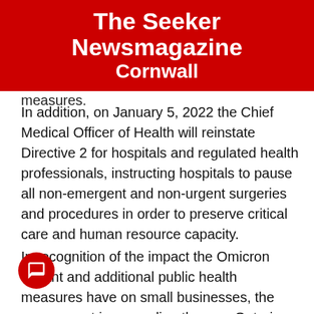The Seeker Newsmagazine Cornwall
public health and workplace safety measures.
In addition, on January 5, 2022 the Chief Medical Officer of Health will reinstate Directive 2 for hospitals and regulated health professionals, instructing hospitals to pause all non-emergent and non-urgent surgeries and procedures in order to preserve critical care and human resource capacity.
In recognition of the impact the Omicron variant and additional public health measures have on small businesses, the government is expanding the new Ontario Business Costs Rebate Program. Eligible businesses that are required to close or reduce capacity receive rebate payments for a portion of the property tax and energy costs they incur while subject to the measures. Eligible businesses are also able to